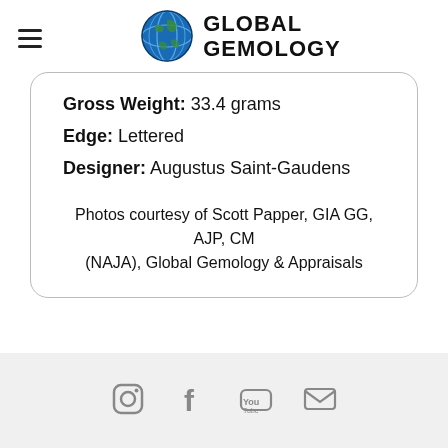GLOBAL GEMOLOGY
Gross Weight: 33.4 grams
Edge: Lettered
Designer: Augustus Saint-Gaudens
Photos courtesy of Scott Papper, GIA GG, AJP, CM (NAJA), Global Gemology & Appraisals
[Social media icons: Instagram, Facebook, YouTube, Email]